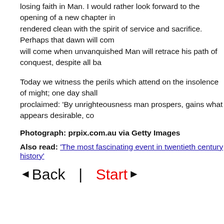losing faith in Man. I would rather look forward to the opening of a new chapter in rendered clean with the spirit of service and sacrifice. Perhaps that dawn will com will come when unvanquished Man will retrace his path of conquest, despite all ba
Today we witness the perils which attend on the insolence of might; one day shall proclaimed: 'By unrighteousness man prospers, gains what appears desirable, co
Photograph: prpix.com.au via Getty Images
Also read: 'The most fascinating event in twentieth century history'
◄ Back  |  Start ►